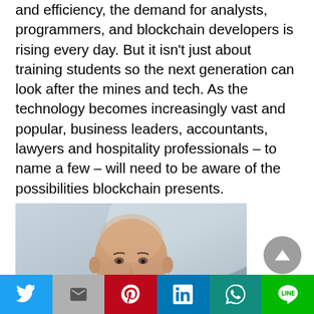and efficiency, the demand for analysts, programmers, and blockchain developers is rising every day. But it isn't just about training students so the next generation can look after the mines and tech. As the technology becomes increasingly vast and popular, business leaders, accountants, lawyers and hospitality professionals – to name a few – will need to be aware of the possibilities blockchain presents.
[Figure (photo): Portrait photo of a bald man against a light background]
Twitter | Gmail | Pinterest | LinkedIn | WhatsApp | LINE